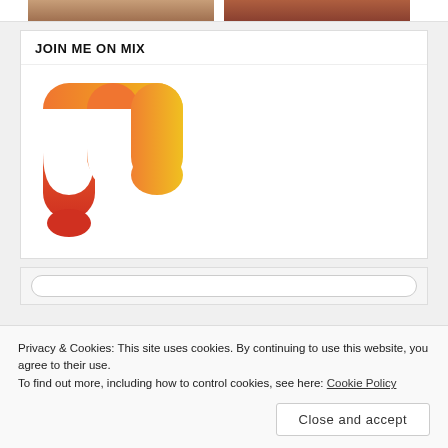[Figure (photo): Two partial food/recipe photos visible at top of page, cropped]
JOIN ME ON MIX
[Figure (logo): Mix app logo — stylized letter M shape in orange-red gradient with yellow, dripping paint style]
Privacy & Cookies: This site uses cookies. By continuing to use this website, you agree to their use.
To find out more, including how to control cookies, see here: Cookie Policy
Close and accept